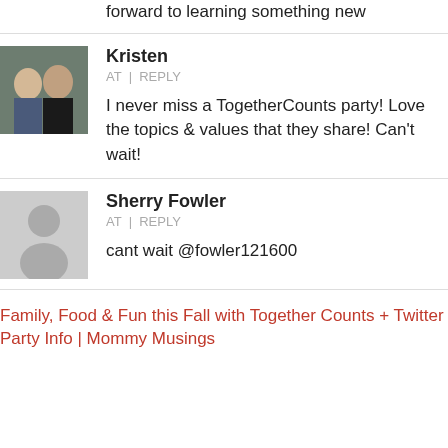forward to learning something new
Kristen
AT | REPLY
I never miss a TogetherCounts party! Love the topics & values that they share! Can't wait!
Sherry Fowler
AT | REPLY
cant wait @fowler121600
Family, Food & Fun this Fall with Together Counts + Twitter Party Info | Mommy Musings